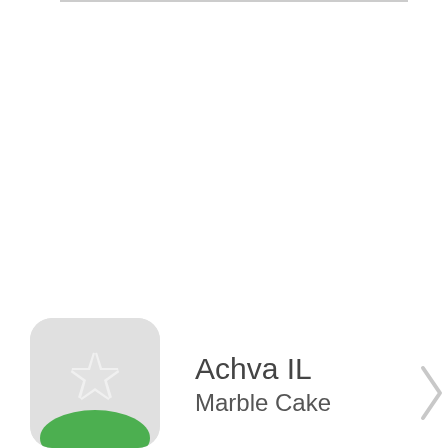[Figure (screenshot): App store listing entry showing a rounded-rectangle app icon with a grey background containing a green and white star/puzzle-piece shape, with app name 'Achva IL' and subtitle 'Marble Cake'. A horizontal grey divider line appears at the top. A grey right-arrow chevron is partially visible at the right edge.]
Achva IL
Marble Cake